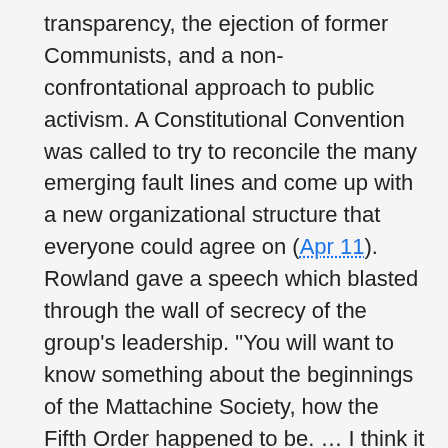transparency, the ejection of former Communists, and a non-confrontational approach to public activism. A Constitutional Convention was called to try to reconcile the many emerging fault lines and come up with a new organizational structure that everyone could agree on (Apr 11). Rowland gave a speech which blasted through the wall of secrecy of the group's leadership. "You will want to know something about the beginnings of the Mattachine Society, how the Fifth Order happened to be. … I think it is reasonable that you should ask this and important that you understand it," he said. He then introduced the leadership to the rank-and-file. That satisfied one of the conservatives' demands. But he also declared his unwavering belief that homosexuals were a unique, valuable segment of society, and if they could only see themselves as such, and with pride, only then could they effect change in society. "The time will come when we will